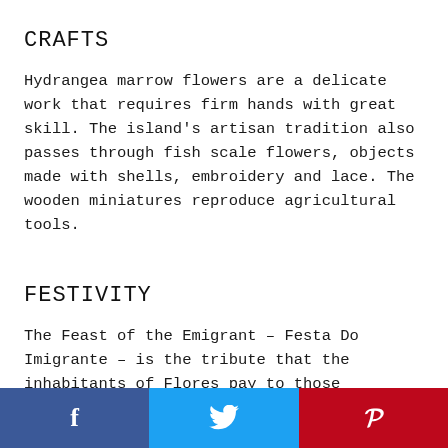CRAFTS
Hydrangea marrow flowers are a delicate work that requires firm hands with great skill. The island's artisan tradition also passes through fish scale flowers, objects made with shells, embroidery and lace. The wooden miniatures reproduce agricultural tools.
FESTIVITY
The Feast of the Emigrant – Festa Do Imigrante – is the tribute that the inhabitants of Flores pay to those
[Figure (infographic): Social share bar with three buttons: Facebook (blue, f icon), Twitter (light blue, bird/t icon), Pinterest (red, P icon)]